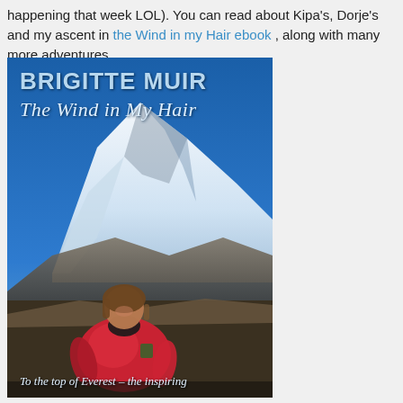happening that week LOL). You can read about Kipa's, Dorje's and my ascent in the Wind in my Hair ebook , along with many more adventures.
[Figure (photo): Book cover of 'The Wind in My Hair' by Brigitte Muir. Shows a woman in a bright red/pink jacket smiling in front of a large snow-capped mountain (Everest). Blue sky background. Title text at top: 'BRIGITTE MUIR' in large serif font and 'The Wind in My Hair' in cursive script below. Subtitle at bottom: 'To the top of Everest – the inspiring']